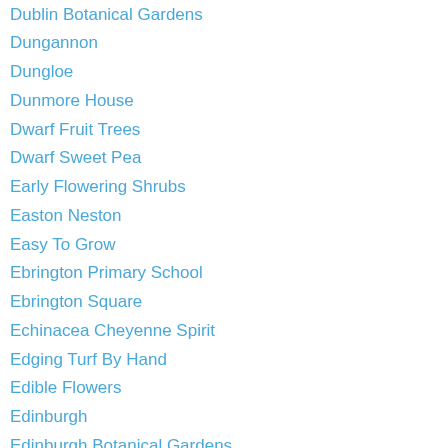Dublin Botanical Gardens
Dungannon
Dungloe
Dunmore House
Dwarf Fruit Trees
Dwarf Sweet Pea
Early Flowering Shrubs
Easton Neston
Easy To Grow
Ebrington Primary School
Ebrington Square
Echinacea Cheyenne Spirit
Edging Turf By Hand
Edible Flowers
Edinburgh
Edinburgh Botanical Gardens
Eglinton
Eglinton Annual Show
Elderflower Champagne
Ellisfield Manor
Emery Cross